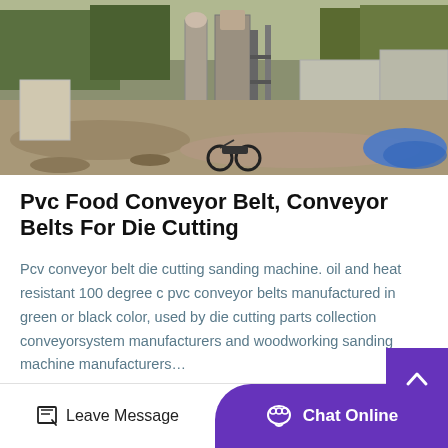[Figure (photo): Outdoor industrial/construction site with machinery, silos, scaffolding, sand/gravel ground, trees in background, blue tarp on right, motorcycle in center.]
Pvc Food Conveyor Belt, Conveyor Belts For Die Cutting
Pcv conveyor belt die cutting sanding machine. oil and heat resistant 100 degree c pvc conveyor belts manufactured in green or black color, used by die cutting parts collection conveyorsystem manufacturers and woodworking sanding machine manufacturers…
Get Price
Leave Message
Chat Online